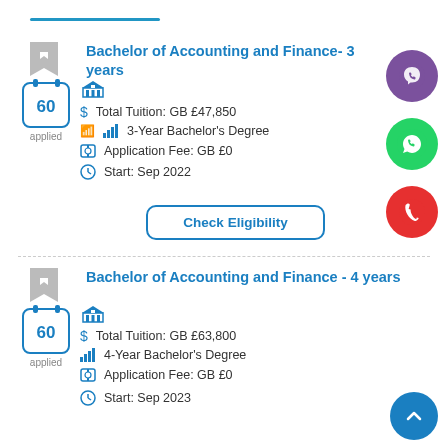Bachelor of Accounting and Finance- 3 years
Total Tuition: GB £47,850
3-Year Bachelor's Degree
Application Fee: GB £0
Start: Sep 2022
Check Eligibility
Bachelor of Accounting and Finance - 4 years
Total Tuition: GB £63,800
4-Year Bachelor's Degree
Application Fee: GB £0
Start: Sep 2023